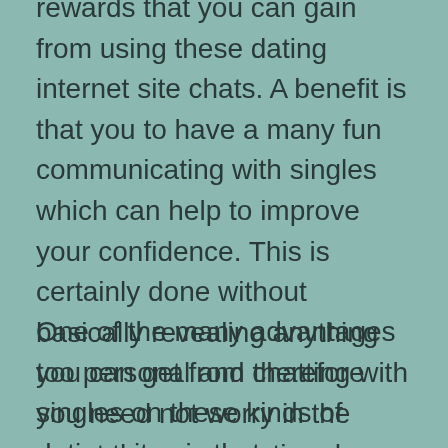rewards that you can gain from using these dating internet site chats. A benefit is that you to have a many fun communicating with singles which can help to improve your confidence. This is certainly done without basically revealing anything too personal and therefore you need not worry in the event the conversation does not work out.
One of the many advantages you can get from chatting with singles on these kinds of dating sites is that you can find new people and flirt with them. In order to find new people on these web sites, you have to look for other